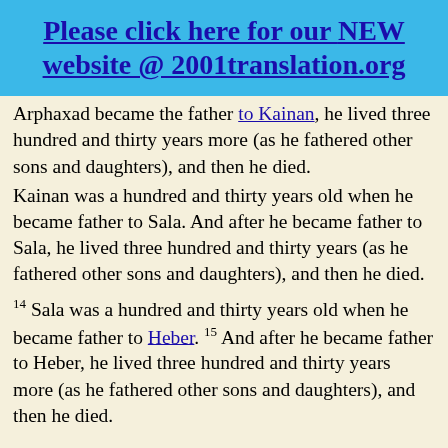Please click here for our NEW website @ 2001translation.org
Arphaxad became the father to Kainan, he lived three hundred and thirty years more (as he fathered other sons and daughters), and then he died.
Kainan was a hundred and thirty years old when he became father to Sala. And after he became father to Sala, he lived three hundred and thirty years (as he fathered other sons and daughters), and then he died.
14 Sala was a hundred and thirty years old when he became father to Heber. 15 And after he became father to Heber, he lived three hundred and thirty years more (as he fathered other sons and daughters), and then he died.